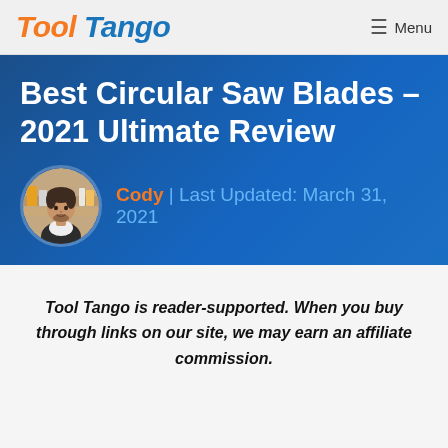Tool Tango  Menu
Best Circular Saw Blades – 2021 Ultimate Review
Cody | Last Updated: March 31, 2021
Tool Tango is reader-supported. When you buy through links on our site, we may earn an affiliate commission.